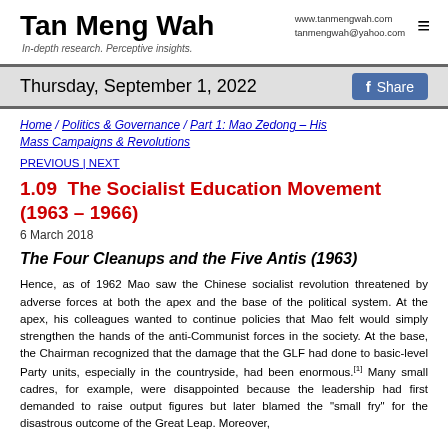Tan Meng Wah
www.tanmengwah.com
tanmengwah@yahoo.com
In-depth research. Perceptive insights.
Thursday, September 1, 2022
Home / Politics & Governance / Part 1: Mao Zedong – His Mass Campaigns & Revolutions
PREVIOUS | NEXT
1.09  The Socialist Education Movement (1963 – 1966)
6 March 2018
The Four Cleanups and the Five Antis (1963)
Hence, as of 1962 Mao saw the Chinese socialist revolution threatened by adverse forces at both the apex and the base of the political system. At the apex, his colleagues wanted to continue policies that Mao felt would simply strengthen the hands of the anti-Communist forces in the society. At the base, the Chairman recognized that the damage that the GLF had done to basic-level Party units, especially in the countryside, had been enormous.[1] Many small cadres, for example, were disappointed because the leadership had first demanded to raise output figures but later blamed the "small fry" for the disastrous outcome of the Great Leap. Moreover,